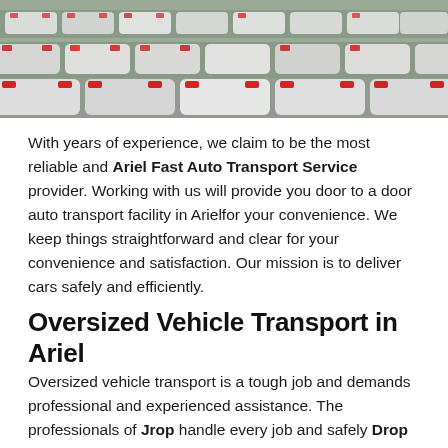[Figure (photo): Aerial/overhead view of a parking lot filled with many white and light-colored cars.]
With years of experience, we claim to be the most reliable and Ariel Fast Auto Transport Service provider. Working with us will provide you door to a door auto transport facility in Arielfor your convenience. We keep things straightforward and clear for your convenience and satisfaction. Our mission is to deliver cars safely and efficiently.
Oversized Vehicle Transport in Ariel
Oversized vehicle transport is a tough job and demands professional and experienced assistance. The professionals of Jrop handle every job and safely Drop Your Oversized Vehicle in Ariel at your destination. We have the necessary and latest technology to get the job done perfectly and completely.
International Car Moving Services in Ariel